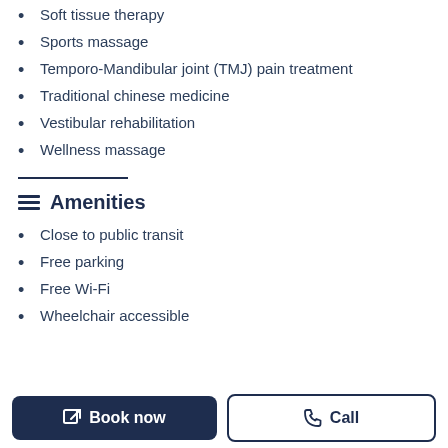Soft tissue therapy
Sports massage
Temporo-Mandibular joint (TMJ) pain treatment
Traditional chinese medicine
Vestibular rehabilitation
Wellness massage
Amenities
Close to public transit
Free parking
Free Wi-Fi
Wheelchair accessible